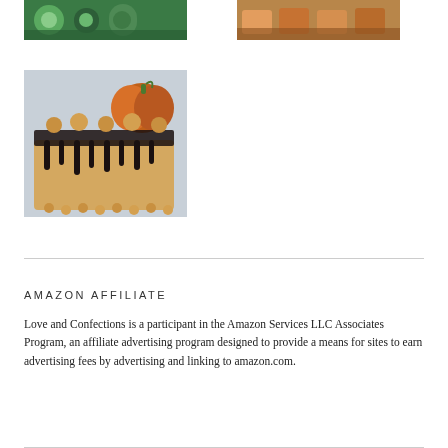[Figure (photo): Photo of green-decorated cupcakes/pastries with floral frosting on dark background]
[Figure (photo): Photo of brown cupcakes in orange liners with cookies on a plate]
[Figure (photo): Chocolate drip cake with peanut butter frosting and a pumpkin decoration in the background]
AMAZON AFFILIATE
Love and Confections is a participant in the Amazon Services LLC Associates Program, an affiliate advertising program designed to provide a means for sites to earn advertising fees by advertising and linking to amazon.com.